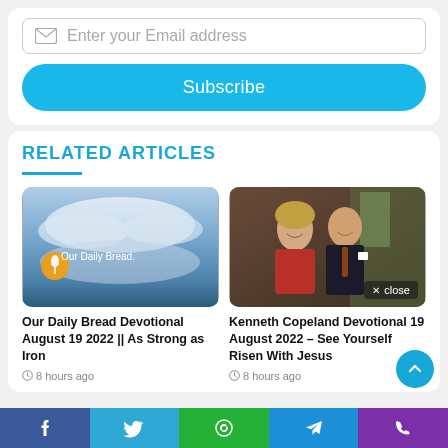Enter your Email address
Subscribe
RELATED ARTICLES
[Figure (photo): Our Daily Bread logo over blue sky and clouds background]
Our Daily Bread Devotional August 19 2022 || As Strong as Iron
8 hours ago
[Figure (photo): Kenneth Copeland and wife smiling portrait photo with close badge]
Kenneth Copeland Devotional 19 August 2022 – See Yourself Risen With Jesus
8 hours ago